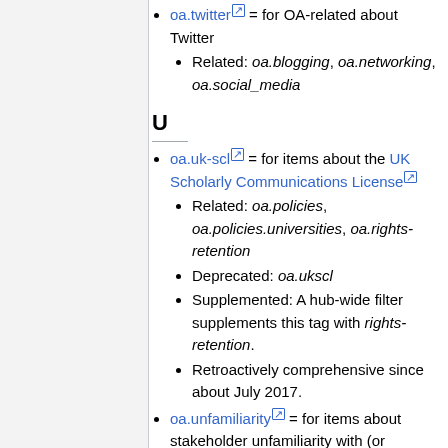oa.twitter = for OA-related about Twitter
  Related: oa.blogging, oa.networking, oa.social_media
U
oa.uk-scl = for items about the UK Scholarly Communications License
  Related: oa.policies, oa.policies.universities, oa.rights-retention
  Deprecated: oa.ukscl
  Supplemented: A hub-wide filter supplements this tag with rights-retention.
  Retroactively comprehensive since about July 2017.
oa.unfamiliarity = for items about stakeholder unfamiliarity with (or